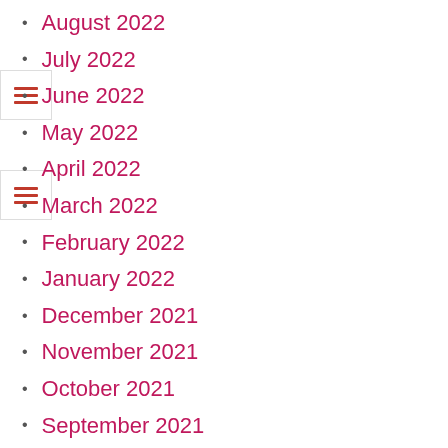August 2022
July 2022
June 2022
May 2022
April 2022
March 2022
February 2022
January 2022
December 2021
November 2021
October 2021
September 2021
August 2021
July 2021
June 2021
May 2021
April 2021
March 2021
February 2021